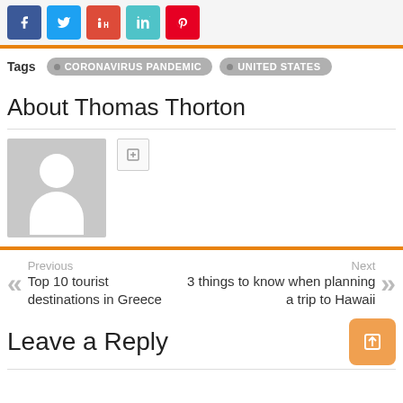[Figure (other): Social share buttons: Facebook, Twitter, Google+, LinkedIn, Pinterest]
Tags  • CORONAVIRUS PANDEMIC  • UNITED STATES
About Thomas Thorton
[Figure (photo): Default grey avatar placeholder image with white silhouette figure]
[Figure (other): Small link/share icon button]
Previous
Top 10 tourist destinations in Greece
Next
3 things to know when planning a trip to Hawaii
Leave a Reply
[Figure (other): Orange scroll-to-top or action button]